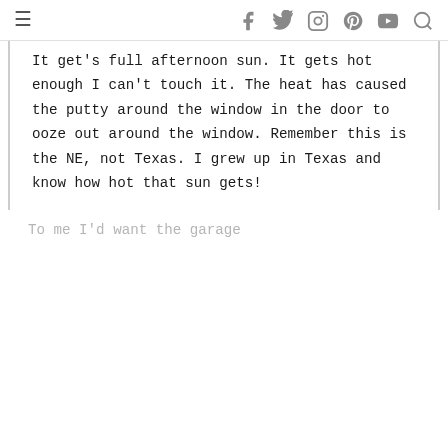≡  f  Twitter  Instagram  Pinterest  YouTube  Search
It get's full afternoon sun. It gets hot enough I can't touch it. The heat has caused the putty around the window in the door to ooze out around the window. Remember this is the NE, not Texas. I grew up in Texas and know how hot that sun gets!
To me I'd want the garage